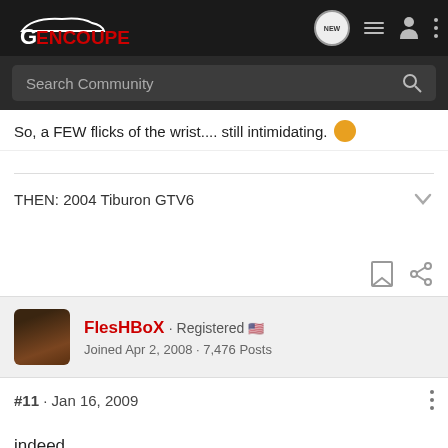[Figure (screenshot): GenCoupe forum website header navigation bar with logo, NEW button, list icon, user icon, and more options icon]
Search Community
So, a FEW flicks of the wrist.... still intimidating.
THEN: 2004 Tiburon GTV6
FlesHBoX · Registered
Joined Apr 2, 2008 · 7,476 Posts
#11 · Jan 16, 2009
indeed